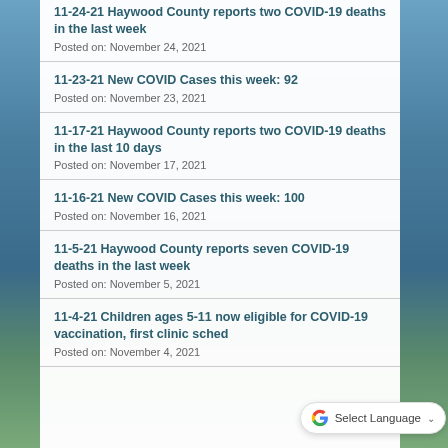11-24-21 Haywood County reports two COVID-19 deaths in the last week
Posted on: November 24, 2021
11-23-21 New COVID Cases this week: 92
Posted on: November 23, 2021
11-17-21 Haywood County reports two COVID-19 deaths in the last 10 days
Posted on: November 17, 2021
11-16-21 New COVID Cases this week: 100
Posted on: November 16, 2021
11-5-21 Haywood County reports seven COVID-19 deaths in the last week
Posted on: November 5, 2021
11-4-21 Children ages 5-11 now eligible for COVID-19 vaccination, first clinic sched
Posted on: November 4, 2021